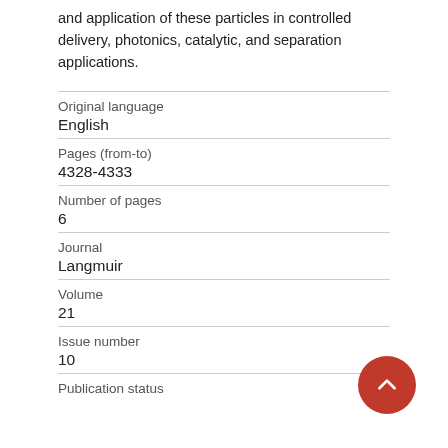and application of these particles in controlled delivery, photonics, catalytic, and separation applications.
| Original language | English |
| Pages (from-to) | 4328-4333 |
| Number of pages | 6 |
| Journal | Langmuir |
| Volume | 21 |
| Issue number | 10 |
| Publication status |  |